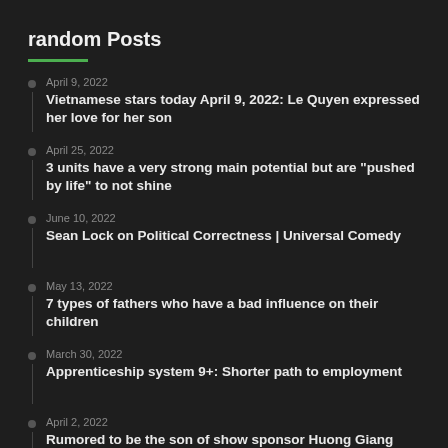random Posts
April 9, 2022
Vietnamese stars today April 9, 2022: Le Quyen expressed her love for her son
April 25, 2022
3 units have a very strong main potential but are "pushed by life" to not shine
June 10, 2022
Sean Lock on Political Correctness | Universal Comedy
May 13, 2022
7 types of fathers who have a bad influence on their children
March 30, 2022
Apprenticeship system 9+: Shorter path to employment
April 2, 2022
Rumored to be the son of show sponsor Huong Giang should be biased, Minh Khac of Ha Anh team responded